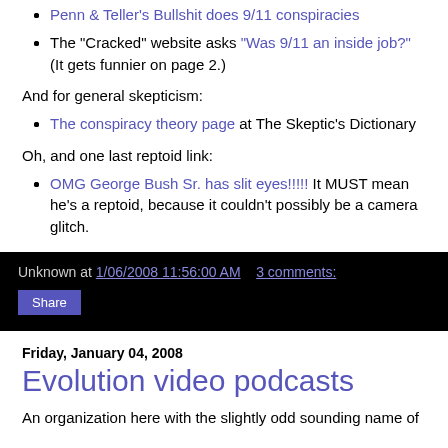Penn & Teller's Bullshit does 9/11 conspiracies
The "Cracked" website asks "Was 9/11 an inside job?" (It gets funnier on page 2.)
And for general skepticism:
The conspiracy theory page at The Skeptic's Dictionary
Oh, and one last reptoid link:
OMG George Bush Sr. has slit eyes!!!!! It MUST mean he's a reptoid, because it couldn't possibly be a camera glitch.
Unknown at 1/06/2008 11:56:00 AM    3 comments:
Share
Friday, January 04, 2008
Evolution video podcasts
An organization here with the slightly odd sounding name of